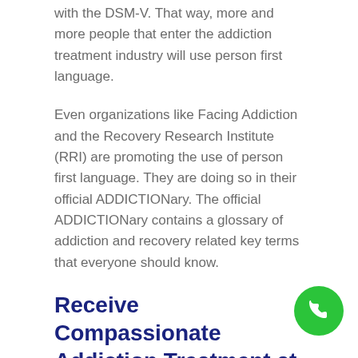with the DSM-V. That way, more and more people that enter the addiction treatment industry will use person first language.
Even organizations like Facing Addiction and the Recovery Research Institute (RRI) are promoting the use of person first language. They are doing so in their official ADDICTIONary. The official ADDICTIONary contains a glossary of addiction and recovery related key terms that everyone should know.
Receive Compassionate Addiction Treatment at New Directions for Women
New Directions for Women is a supportive treatment center made just for women, their families, and their children. This is because although our treatment is gender-specific, we are also family-centered. Therefore, single mothers who can't leave their children